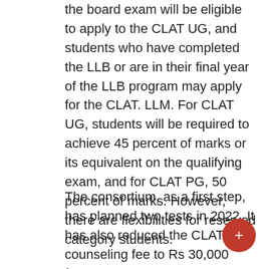the board exam will be eligible to apply to the CLAT UG, and students who have completed the LLB or are in their final year of the LLB program may apply for the CLAT. LLM. For CLAT UG, students will be required to achieve 45 percent of marks or its equivalent on the qualifying exam, and for CLAT PG, 50 percent of marks. However, there are flexibilities for reserved category students.
The consortium, as a first step, has planned two tests in 2022. It has also reduced the CLAT counseling fee to Rs 30,000 from Rs 50,000. For students in the reserved category, the counseling